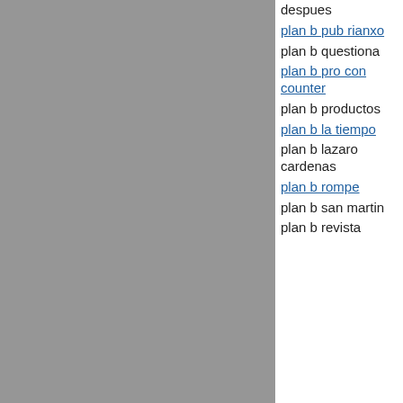[Figure (other): Gray background panel on the left side of the page]
despues
plan b pub rianxo
plan b questiona
plan b pro con counter
plan b productos
plan b la tiempo
plan b lazaro cardenas
plan b rompe
plan b san martin
plan b revista